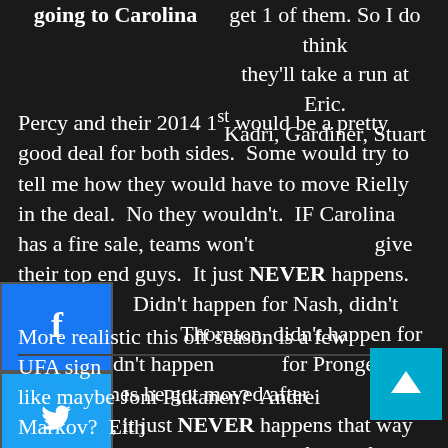going to Carolina
get 1 of them. So I do think they'll take a run at Eric. Kadri, Gardiner, Stuart Percy and their 2014 1st would be a pretty good deal for both sides. Some would try to tell me how they would have to move Rielly in the deal. No they wouldn't. IF Carolina has a fire sale, teams won't give their top end guys. It just NEVER happens. Didn't happen for Nash, didn't happen for Thornton, didn't happen for Heatley, didn't happen for Pronger any of the 3 times he got moved after the 05 lockout, it just NEVER happens that way and I wish people would finally figure this out.
More realistic this off season is a few UFA signings like maybe Joni Pitkanen? Andrei Markov? Either